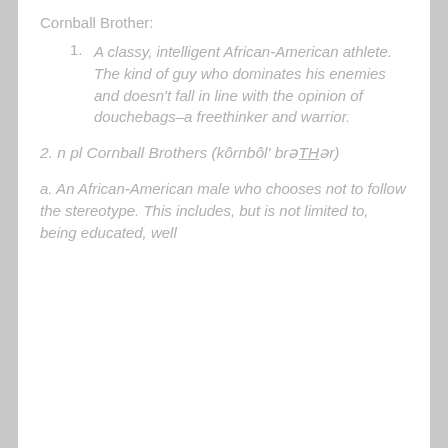Cornball Brother:
1. A classy, intelligent African-American athlete. The kind of guy who dominates his enemies and doesn't fall in line with the opinion of douchebags–a freethinker and warrior.
2. n pl Cornball Brothers (kôrnbôl' brəTHər)
a. An African-American male who chooses not to follow the stereotype. This includes, but is not limited to, being educated, well